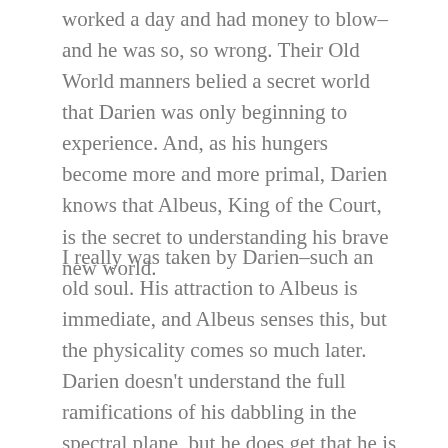worked a day and had money to blow–and he was so, so wrong. Their Old World manners belied a secret world that Darien was only beginning to experience. And, as his hungers become more and more primal, Darien knows that Albeus, King of the Court, is the secret to understanding his brave new world.
I really was taken by Darien–such an old soul. His attraction to Albeus is immediate, and Albeus senses this, but the physicality comes so much later. Darien doesn't understand the full ramifications of his dabbling in the spectral plane, but he does get that he is forever changed, and that his transformation is not complete. His energy is through the roof, he's ravenous, and his sexual appetite is far more physical than previously. Albeus